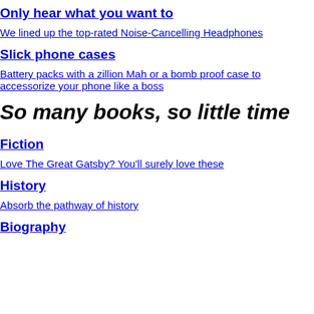Only hear what you want to
We lined up the top-rated Noise-Cancelling Headphones
Slick phone cases
Battery packs with a zillion Mah or a bomb proof case to accessorize your phone like a boss
So many books, so little time
Fiction
Love The Great Gatsby? You'll surely love these
History
Absorb the pathway of history
Biography